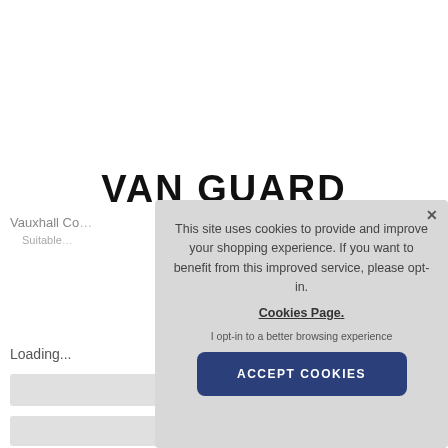VAN GUARD
Vauxhall Co…
Suitable…
Loading...
[Figure (screenshot): Cookie consent popup overlay on a Van Guard website. The popup has a grey background, an X close button, cookie consent text, a 'Cookies Page.' underlined link, 'I opt-in to a better browsing experience' text, and a dark blue 'ACCEPT COOKIES' button.]